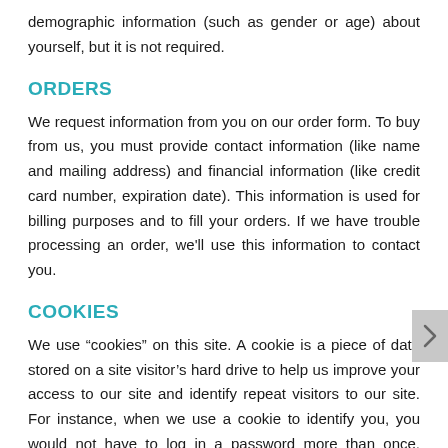demographic information (such as gender or age) about yourself, but it is not required.
ORDERS
We request information from you on our order form. To buy from us, you must provide contact information (like name and mailing address) and financial information (like credit card number, expiration date). This information is used for billing purposes and to fill your orders. If we have trouble processing an order, we'll use this information to contact you.
COOKIES
We use “cookies” on this site. A cookie is a piece of data stored on a site visitor’s hard drive to help us improve your access to our site and identify repeat visitors to our site. For instance, when we use a cookie to identify you, you would not have to log in a password more than once, thereby saving time while on our site. Cookies can also enable us to track and target the interests of our